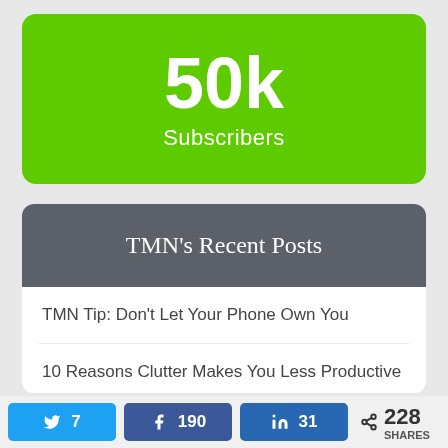[Figure (infographic): Green rounded rectangle showing '50k Subscribers' milestone badge]
TMN's Recent Posts
TMN Tip: Don't Let Your Phone Own You
10 Reasons Clutter Makes You Less Productive
7 Twitter shares, 190 Facebook shares, 31 LinkedIn shares, 228 SHARES total